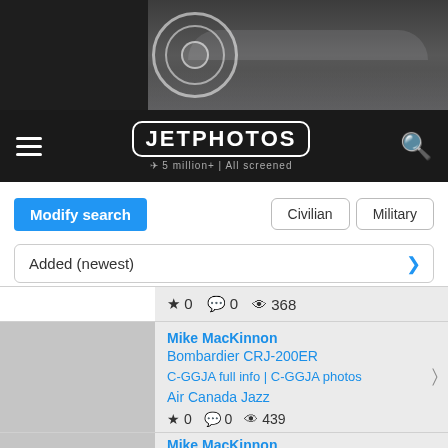[Figure (screenshot): JetPhotos website header with airplane banner image and circular logo]
JETPHOTOS — 5 million+ | All screened
Modify search | Civilian | Military
Added (newest)
★ 0  💬 0  👁 368
Mike MacKinnon
Bombardier CRJ-200ER
C-GGJA full info | C-GGJA photos
Air Canada Jazz
★ 0  💬 0  👁 439
Mike MacKinnon
Bombardier Dash 8-311
C-GABP full info | C-GABP photos
Air Canada Jazz